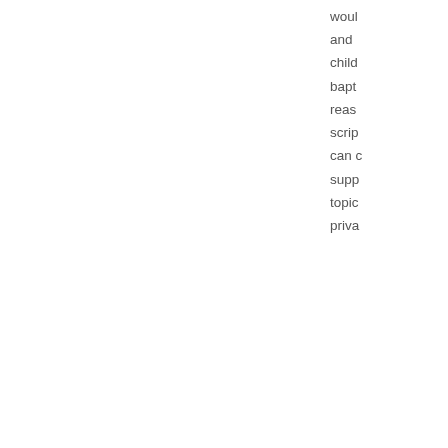woul
and
child
bapt
reas
script
can c
supp
topic
priva
back to top ^
[Figure (photo): User avatar placeholder image (gray silhouette)]
David
Me t
Davi
[Figure (photo): User avatar placeholder image (gray silhouette) for Karen]
Karen May 7, 2017
Hi Folks! Christ is risen! We are still celebrating the Resurre